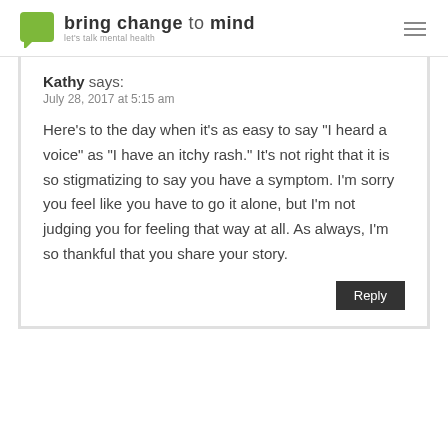bring change to mind — let's talk mental health
Kathy says:
July 28, 2017 at 5:15 am
Here's to the day when it's as easy to say "I heard a voice" as "I have an itchy rash." It's not right that it is so stigmatizing to say you have a symptom. I'm sorry you feel like you have to go it alone, but I'm not judging you for feeling that way at all. As always, I'm so thankful that you share your story.
Reply